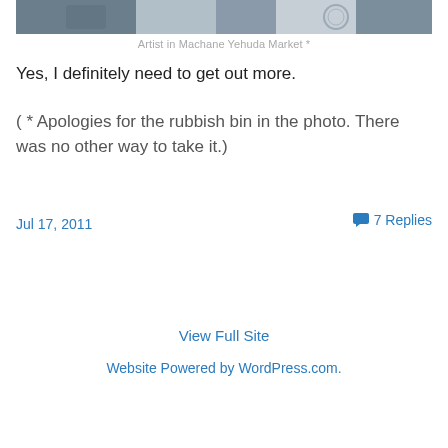[Figure (photo): Partial photo of artist in Machane Yehuda Market, showing outdoor scene with objects including a rubbish bin and bicycle wheel]
Artist in Machane Yehuda Market *
Yes, I definitely need to get out more.
( * Apologies for the rubbish bin in the photo. There was no other way to take it.)
Jul 17, 2011
7 Replies
View Full Site
Website Powered by WordPress.com.